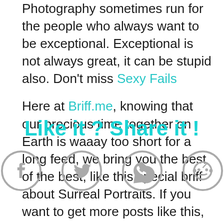Photography sometimes run for the people who always want to be exceptional. Exceptional is not always great, it can be stupid also. Don't miss Sexy Fails
Here at Briff.me, knowing that our precious time together on Earth is waaay too short for a long feed, we bring you the best of the best, like this special briff about Surreal Portraits. If you want to get more posts like this, click like on the Briff.me Facebook
Like it ? Share it !
[Figure (infographic): Four social media share icons: Facebook, Twitter, WhatsApp, Reddit]